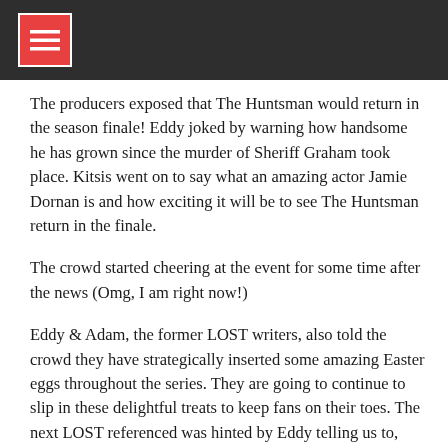[Figure (logo): Dark header bar with red menu/hamburger icon button with white border]
The producers exposed that The Huntsman would return in the season finale! Eddy joked by warning how handsome he has grown since the murder of Sheriff Graham took place. Kitsis went on to say what an amazing actor Jamie Dornan is and how exciting it will be to see The Huntsman return in the finale.
The crowd started cheering at the event for some time after the news (Omg, I am right now!)
Eddy & Adam, the former LOST writers, also told the crowd they have strategically inserted some amazing Easter eggs throughout the series. They are going to continue to slip in these delightful treats to keep fans on their toes. The next LOST referenced was hinted by Eddy telling us to, "look up in the air" for the upcoming episode.